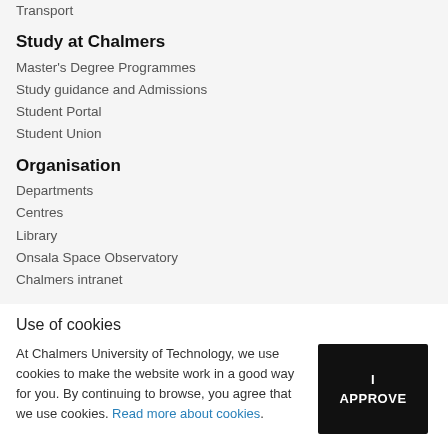Transport
Study at Chalmers
Master's Degree Programmes
Study guidance and Admissions
Student Portal
Student Union
Organisation
Departments
Centres
Library
Onsala Space Observatory
Chalmers intranet
Use of cookies
At Chalmers University of Technology, we use cookies to make the website work in a good way for you. By continuing to browse, you agree that we use cookies. Read more about cookies.